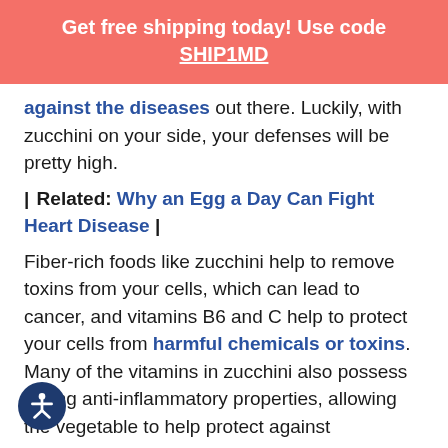Get free shipping today! Use code SHIP1MD
against the diseases out there. Luckily, with zucchini on your side, your defenses will be pretty high.
| Related: Why an Egg a Day Can Fight Heart Disease |
Fiber-rich foods like zucchini help to remove toxins from your cells, which can lead to cancer, and vitamins B6 and C help to protect your cells from harmful chemicals or toxins. Many of the vitamins in zucchini also possess strong anti-inflammatory properties, allowing the vegetable to help protect against inflammation and the many serious diseases